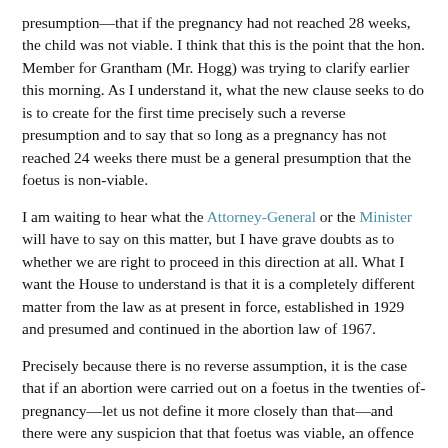presumption—that if the pregnancy had not reached 28 weeks, the child was not viable. I think that this is the point that the hon. Member for Grantham (Mr. Hogg) was trying to clarify earlier this morning. As I understand it, what the new clause seeks to do is to create for the first time precisely such a reverse presumption and to say that so long as a pregnancy has not reached 24 weeks there must be a general presumption that the foetus is non-viable.
I am waiting to hear what the Attorney-General or the Minister will have to say on this matter, but I have grave doubts as to whether we are right to proceed in this direction at all. What I want the House to understand is that it is a completely different matter from the law as at present in force, established in 1929 and presumed and continued in the abortion law of 1967.
Precisely because there is no reverse assumption, it is the case that if an abortion were carried out on a foetus in the twenties ofpregnancy—let us not define it more closely than that—and there were any suspicion that that foetus was viable, an offence would be committed. It does not have to be 28 weeks, 24 weeks or 20 weeks; at any stage. I am glad to see the Minister nodding. I think that this is the right explanation of the present law and that the burden is, therefore, very heavily on the medical practitioner to watch that he is not breaking the law, because he has no protection in relation to termination of any pregnancy up to